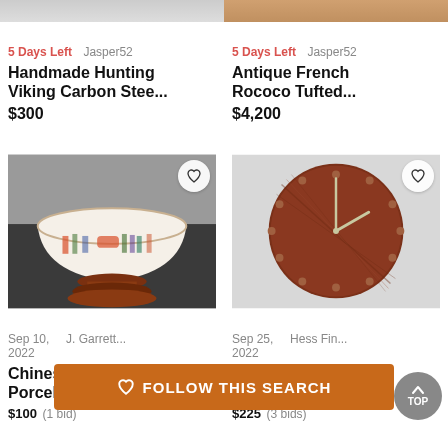[Figure (photo): Cropped top of item image on left, partially visible]
[Figure (photo): Cropped top of item image on right, partially visible]
5 Days Left   Jasper52
Handmade Hunting Viking Carbon Stee...
$300
5 Days Left   Jasper52
Antique French Rococo Tufted...
$4,200
[Figure (photo): Chinese export porcelain bowl with painted figures on dark pedestal stand, on gray background]
[Figure (photo): Fritz Hansen teak round wall clock with dot hour markers and gold hands]
Sep 10, 2022   J. Garrett...
Chinese Export Porcelain Bowl
$100 (1 bid)
Sep 25, 2022   Hess Fin...
Fritz Hansen Teak Century...
$225 (3 bids)
♡ FOLLOW THIS SEARCH